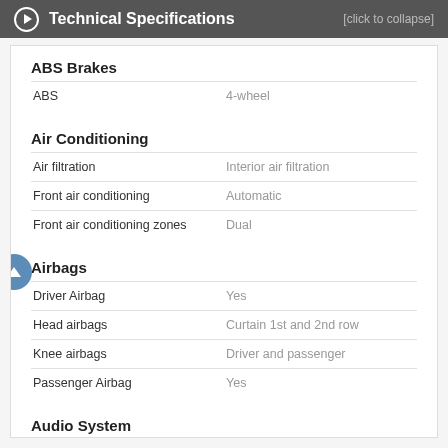Technical Specifications [click to collapse]
ABS Brakes
| Feature | Value |
| --- | --- |
| ABS | 4-wheel |
Air Conditioning
| Feature | Value |
| --- | --- |
| Air filtration | Interior air filtration |
| Front air conditioning | Automatic |
| Front air conditioning zones | Dual |
Airbags
| Feature | Value |
| --- | --- |
| Driver Airbag | Yes |
| Head airbags | Curtain 1st and 2nd row |
| Knee airbags | Driver and passenger |
| Passenger Airbag | Yes |
Audio System